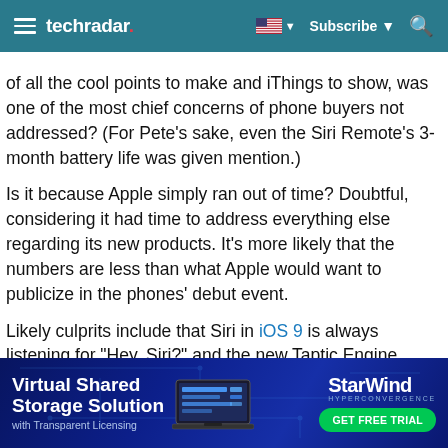techradar. | Subscribe | Search
of all the cool points to make and iThings to show, was one of the most chief concerns of phone buyers not addressed? (For Pete's sake, even the Siri Remote's 3-month battery life was given mention.)
Is it because Apple simply ran out of time? Doubtful, considering it had time to address everything else regarding its new products. It's more likely that the numbers are less than what Apple would want to publicize in the phones' debut event.
Likely culprits include that Siri in iOS 9 is always listening for "Hey, Siri?" and the new Taptic Engine within the phones. Of course, we'll have to save full judgment there for the full
[Figure (advertisement): StarWind Hyperconvergence ad — Virtual Shared Storage Solution with Transparent Licensing. GET FREE TRIAL button.]